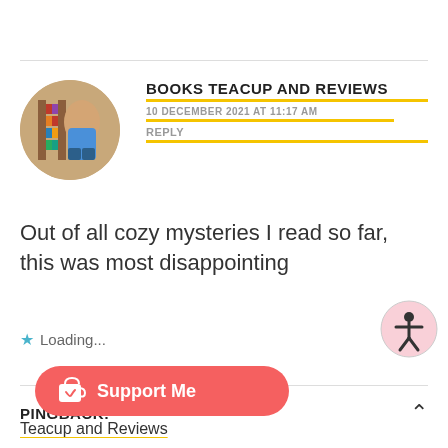BOOKS TEACUP AND REVIEWS
10 DECEMBER 2021 AT 11:17 AM
REPLY
Out of all cozy mysteries I read so far, this was most disappointing
Loading...
[Figure (illustration): Accessibility button icon - circle with person figure]
PINGBACK:
[Figure (illustration): Support Me button with Ko-fi cup icon, coral/red background]
Books Teacup and Reviews